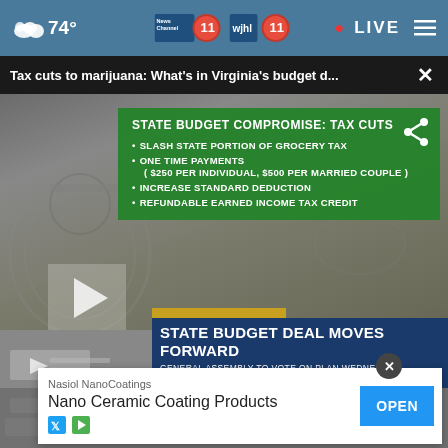74° | News Channel 11 | wjhl 11 | LIVE
Tax cuts to marijuana: What's in Virginia's budget d...
[Figure (screenshot): TV news screenshot showing a green info box overlay on a money background with text about Virginia State Budget Compromise: Tax Cuts. Bullet points: SLASH STATE PORTION OF GROCERY TAX, ONE TIME PAYMENTS ($250 PER INDIVIDUAL, $500 PER MARRIED COUPLE), INCREASE STANDARD DEDUCTION, REFUNDABLE EARNED INCOME TAX CREDIT. Lower third shows CAPITOL CONNECTION banner with headline STATE BUDGET DEAL MOVES FORWARD and subtext GENERAL ASSEMBLY TO VOTE ON PLAN WEDNESDAY]
[Figure (screenshot): Advertisement banner: Nasiol NanoCoatings - Nano Ceramic Coating Products with OPEN button]